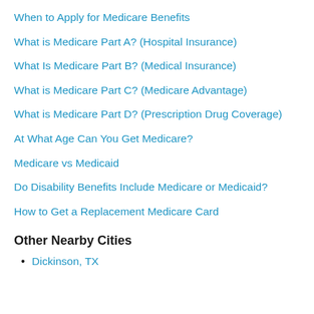When to Apply for Medicare Benefits
What is Medicare Part A? (Hospital Insurance)
What Is Medicare Part B? (Medical Insurance)
What is Medicare Part C? (Medicare Advantage)
What is Medicare Part D? (Prescription Drug Coverage)
At What Age Can You Get Medicare?
Medicare vs Medicaid
Do Disability Benefits Include Medicare or Medicaid?
How to Get a Replacement Medicare Card
Other Nearby Cities
Dickinson, TX